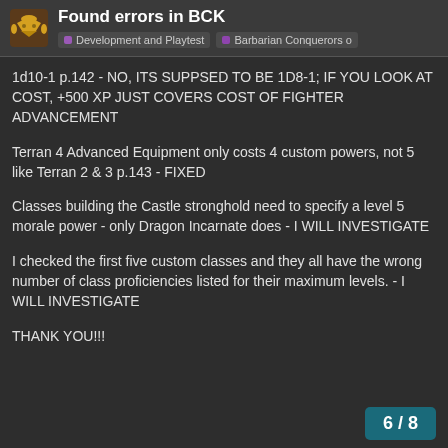Found errors in BCK
Development and Playtest | Barbarian Conquerors o
1d10-1 p.142 - NO, ITS SUPPSED TO BE 1D8-1; IF YOU LOOK AT COST, +500 XP JUST COVERS COST OF FIGHTER ADVANCEMENT
Terran 4 Advanced Equipment only costs 4 custom powers, not 5 like Terran 2 & 3 p.143 - FIXED
Classes building the Castle stronghold need to specify a level 5 morale power - only Dragon Incarnate does - I WILL INVESTIGATE
I checked the first five custom classes and they all have the wrong number of class proficiencies listed for their maximum levels. - I WILL INVESTIGATE
THANK YOU!!!
6 / 8